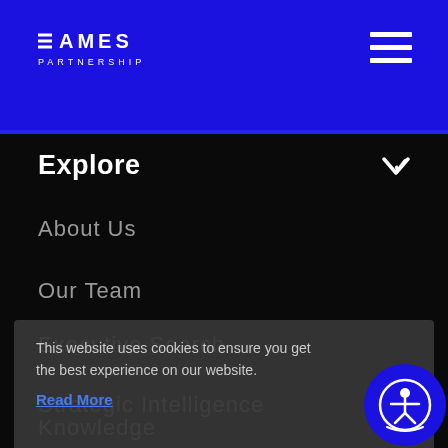EAMES PARTNERSHIP
Explore
About Us
Our Team
Executive Search
Strategic Intelligence
Diversity & Inclusion
This website uses cookies to ensure you get the best experience on our website.
Read More
Got it!
Careers
Knowledge